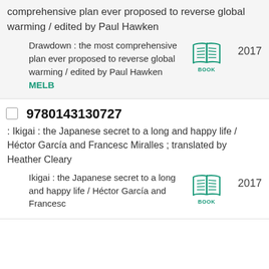comprehensive plan ever proposed to reverse global warming / edited by Paul Hawken
Drawdown : the most comprehensive plan ever proposed to reverse global warming / edited by Paul Hawken MELB
2017
9780143130727
: Ikigai : the Japanese secret to a long and happy life / Héctor García and Francesc Miralles ; translated by Heather Cleary
Ikigai : the Japanese secret to a long and happy life / Héctor García and Francesc
2017